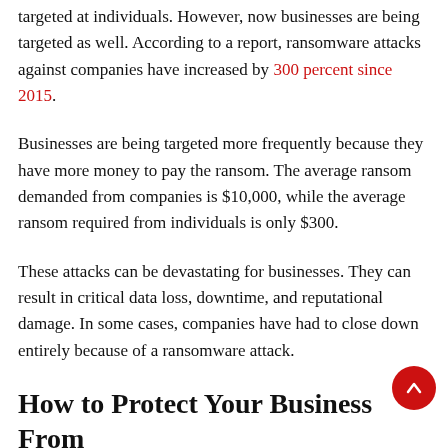targeted at individuals. However, now businesses are being targeted as well. According to a report, ransomware attacks against companies have increased by 300 percent since 2015.
Businesses are being targeted more frequently because they have more money to pay the ransom. The average ransom demanded from companies is $10,000, while the average ransom required from individuals is only $300.
These attacks can be devastating for businesses. They can result in critical data loss, downtime, and reputational damage. In some cases, companies have had to close down entirely because of a ransomware attack.
How to Protect Your Business From Ransomware